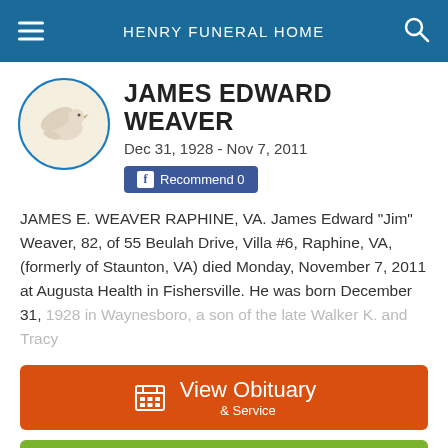HENRY FUNERAL HOME
[Figure (logo): Dove/bird logo in a circle for James Edward Weaver]
JAMES EDWARD WEAVER
Dec 31, 1928 - Nov 7, 2011
Recommend 0
JAMES E. WEAVER RAPHINE, VA. James Edward "Jim" Weaver, 82, of 55 Beulah Drive, Villa #6, Raphine, VA, (formerly of Staunton, VA) died Monday, November 7, 2011 at Augusta Health in Fishersville. He was born December 31, 1928 in Waynesboro, a son of the late Walker K. and Tracy
View Obituary & Service
Send Flowers
Share